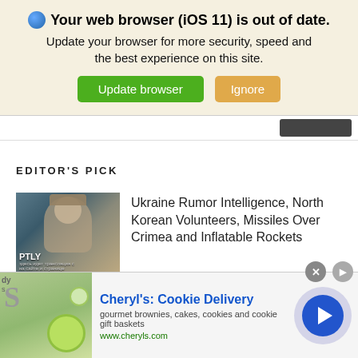[Figure (screenshot): Browser update notification banner with globe icon, bold title 'Your web browser (iOS 11) is out of date.', subtitle text, and two buttons: green 'Update browser' and orange 'Ignore']
EDITOR'S PICK
[Figure (photo): Thumbnail image with 'PTLY' label showing a person in military-style clothing]
Ukraine Rumor Intelligence, North Korean Volunteers, Missiles Over Crimea and Inflatable Rockets
[Figure (screenshot): Advertisement banner for Cheryl's Cookie Delivery showing food image, text 'gourmet brownies, cakes, cookies and cookie gift baskets', URL www.cheryls.com, and a right-arrow button]
Cheryl's: Cookie Delivery
gourmet brownies, cakes, cookies and cookie gift baskets
www.cheryls.com